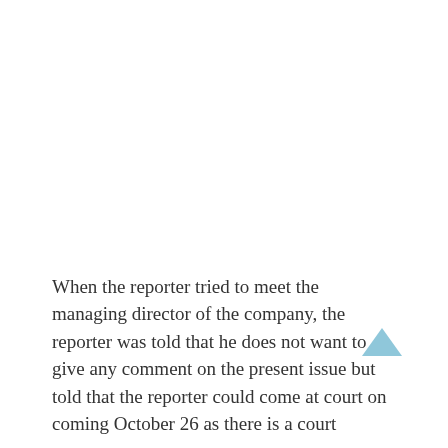When the reporter tried to meet the managing director of the company, the reporter was told that he does not want to give any comment on the present issue but told that the reporter could come at court on coming October 26 as there is a court